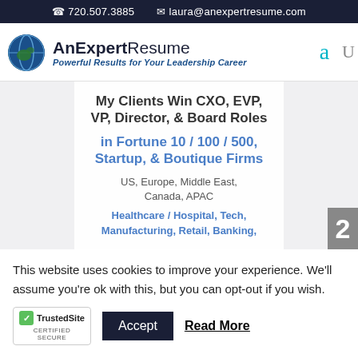☎ 720.507.3885   ✉ laura@anexpertresume.com
[Figure (logo): AnExpertResume logo with globe icon. Text: AnExpertResume - Powerful Results for Your Leadership Career]
[Figure (screenshot): Hero image box with text: My Clients Win CXO, EVP, VP, Director, & Board Roles in Fortune 10 / 100 / 500, Startup, & Boutique Firms. US, Europe, Middle East, Canada, APAC. Healthcare / Hospital, Tech, Manufacturing, Retail, Banking,]
This website uses cookies to improve your experience. We'll assume you're ok with this, but you can opt-out if you wish.
[Figure (logo): TrustedSite CERTIFIED SECURE badge]
Accept   Read More